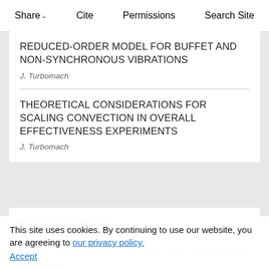Share  Cite  Permissions  Search Site
REDUCED-ORDER MODEL FOR BUFFET AND NON-SYNCHRONOUS VIBRATIONS
J. Turbomach
THEORETICAL CONSIDERATIONS FOR SCALING CONVECTION IN OVERALL EFFECTIVENESS EXPERIMENTS
J. Turbomach
Related Articles
Effects of Trenched Holes on Film Cooling of a Contoured Endwall Nozzle Vane
J. Turbomach (July 2012)
This site uses cookies. By continuing to use our website, you are agreeing to our privacy policy. Accept